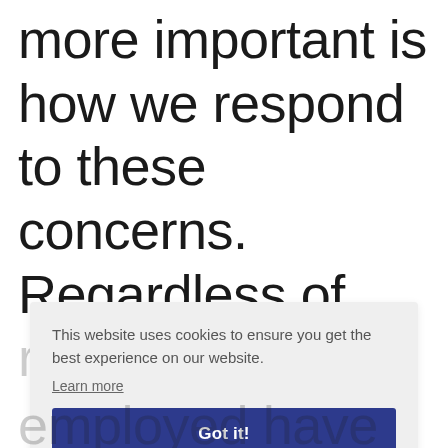more important is how we respond to these concerns. Regardless of regional location,
This website uses cookies to ensure you get the best experience on our website. Learn more
Got it!
employed have